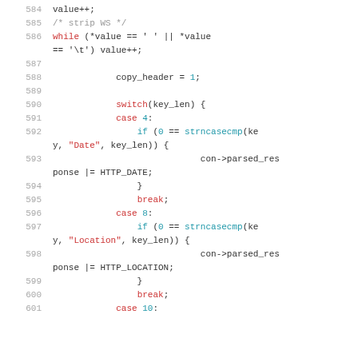[Figure (screenshot): Source code listing showing C code lines 584-601, with syntax highlighting. Line numbers in gray on the left, keywords in red/teal, code in dark gray on white background.]